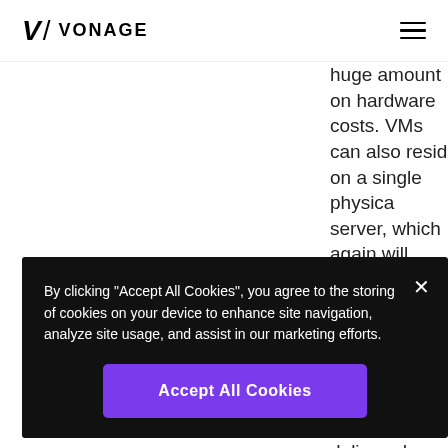[Figure (logo): Vonage logo with stylized V/slash and VONAGE wordmark]
huge amount on hardware costs. VMs can also reside on a single physical server, which again will reduce costs. VoIP is a technology that allows telephone services to be delivered ove... providers are normally offered a
By clicking "Accept All Cookies", you agree to the storing of cookies on your device to enhance site navigation, analyze site usage, and assist in our marketing efforts.
Accept All Cookies